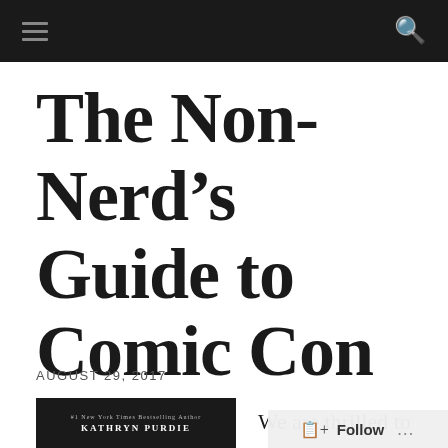Navigation bar with hamburger menu and search icon
The Non-Nerd’s Guide to Comic Con
AUGUST 29, 2017
[Figure (photo): Book cover with dark background showing small text and author name KATHRYN PURDIE]
We are thrilled to